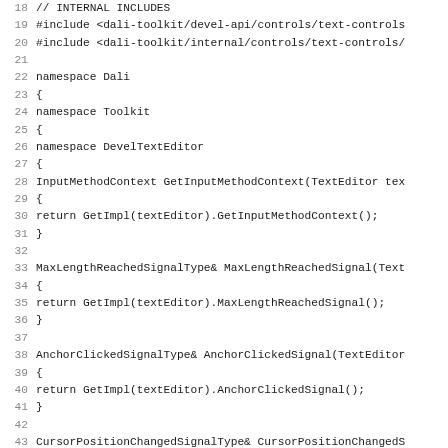// INTERNAL INCLUDES (partial, line 18 cut off)
19 #include <dali-toolkit/devel-api/controls/text-controls/...
20 #include <dali-toolkit/internal/controls/text-controls/...
21
22 namespace Dali
23 {
24 namespace Toolkit
25 {
26 namespace DevelTextEditor
27 {
28 InputMethodContext GetInputMethodContext(TextEditor tex...
29 {
30   return GetImpl(textEditor).GetInputMethodContext();
31 }
32
33 MaxLengthReachedSignalType& MaxLengthReachedSignal(Text...
34 {
35   return GetImpl(textEditor).MaxLengthReachedSignal();
36 }
37
38 AnchorClickedSignalType& AnchorClickedSignal(TextEditor...
39 {
40   return GetImpl(textEditor).AnchorClickedSignal();
41 }
42
43 CursorPositionChangedSignalType& CursorPositionChangedS...
44 {
45   return GetImpl(textEditor).CursorPositionChangedSigna...
46 }
47
48 InputFilteredSignalType& InputFilteredSignal(TextEditor...
49 {
50   return GetImpl(textEditor).InputFilteredSignal();